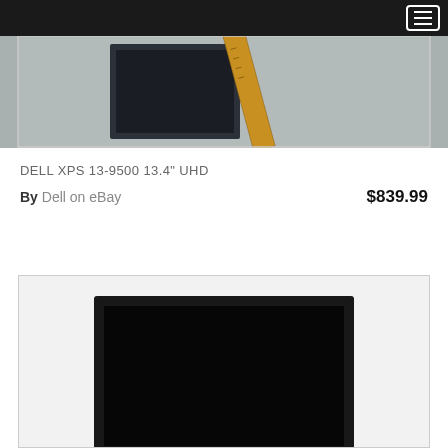[Figure (photo): Top portion of a Dell XPS laptop and a wooden ruler on a gray fabric/carpet surface]
DELL XPS 13-9500 13.4" UHD
By Dell on eBay  $839.99
[Figure (photo): Dell laptop shown from front/top view on white background, showing black screen bezel]